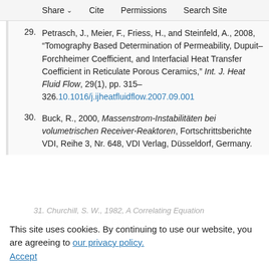Share  Cite  Permissions  Search Site
29. Petrasch, J., Meier, F., Friess, H., and Steinfeld, A., 2008, “Tomography Based Determination of Permeability, Dupuit–Forchheimer Coefficient, and Interfacial Heat Transfer Coefficient in Reticulate Porous Ceramics,” Int. J. Heat Fluid Flow, 29(1), pp. 315–326. 10.1016/j.ijheatfluidflow.2007.09.001
30. Buck, R., 2000, Massenstrom-Instabilitäten bei volumetrischen Receiver-Reaktoren, Fortschrittsberichte VDI, Reihe 3, Nr. 648, VDI Verlag, Düsseldorf, Germany.
31. Churchill, S. W., 1982, A Correlating Equation for Almost Everything, Editor: Aiche, AIChE, Mills, PA
This site uses cookies. By continuing to use our website, you are agreeing to our privacy policy. Accept